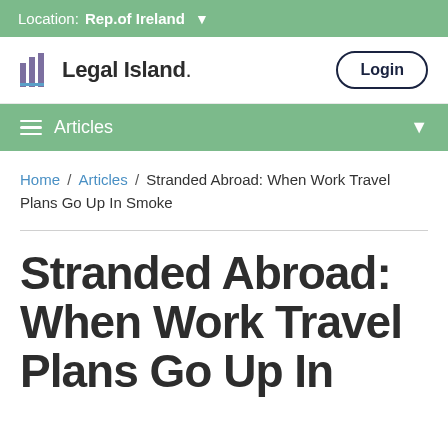Location: Rep.of Ireland
[Figure (logo): Legal Island logo with stylized bar chart icon and text 'Legal Island.']
Articles
Home / Articles / Stranded Abroad: When Work Travel Plans Go Up In Smoke
Stranded Abroad: When Work Travel Plans Go Up In